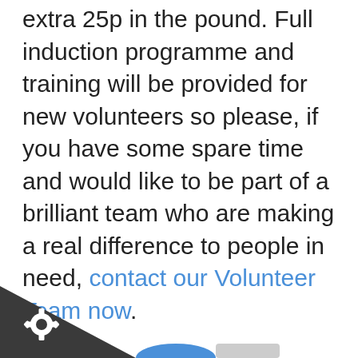extra 25p in the pound. Full induction programme and training will be provided for new volunteers so please, if you have some spare time and would like to be part of a brilliant team who are making a real difference to people in need, contact our Volunteer Team now.
[Figure (illustration): Dark grey triangular shape in the bottom-left corner with a white gear/cog icon, and partial blue and grey elements along the bottom edge]